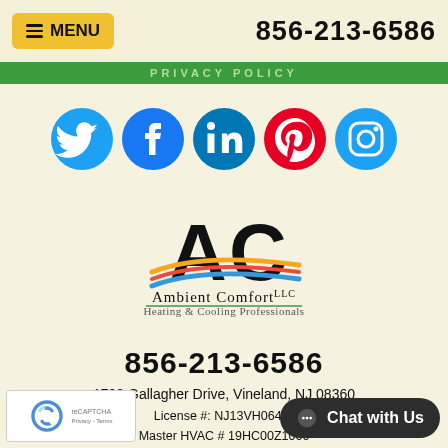MENU   856-213-6586
PRIVACY POLICY
[Figure (logo): Social media icons row: Twitter, Facebook, LinkedIn, Pinterest, Instagram — blue circles with white icons]
[Figure (logo): Ambient Comfort LLC logo — AC letters with colored swoosh lines, text: Ambient Comfort LLC, Heating & Cooling Professionals]
856-213-6586
1790 Gallagher Drive, Vineland, NJ 08360
License #: NJ13VH064...
Master HVAC # 19HC00Z1000